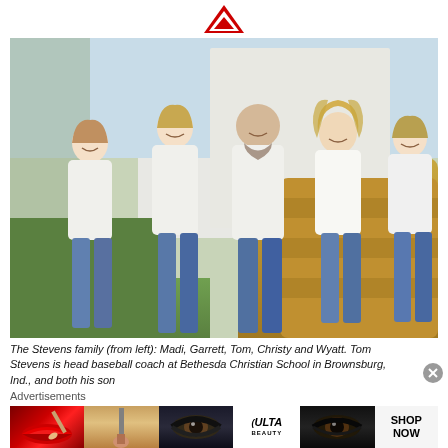[Figure (logo): Red chevron/arrow logo pointing upward]
[Figure (photo): The Stevens family photo showing five people (Madi, Garrett, Tom, Christy, and Wyatt) all dressed in white tops and jeans, standing in front of hay bales outdoors.]
The Stevens family (from left): Madi, Garrett, Tom, Christy and Wyatt. Tom Stevens is head baseball coach at Bethesda Christian School in Brownsburg, Ind., and both his son
[Figure (advertisement): Ulta Beauty advertisement banner showing closeup images of lips, makeup brush, eye with dramatic makeup, Ulta Beauty logo, another dramatic eye, and SHOP NOW text on white background.]